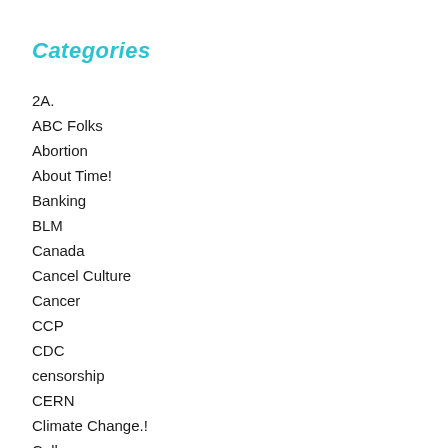Categories
2A.
ABC Folks
Abortion
About Time!
Banking
BLM
Canada
Cancel Culture
Cancer
CCP
CDC
censorship
CERN
Climate Change.!
Collapse